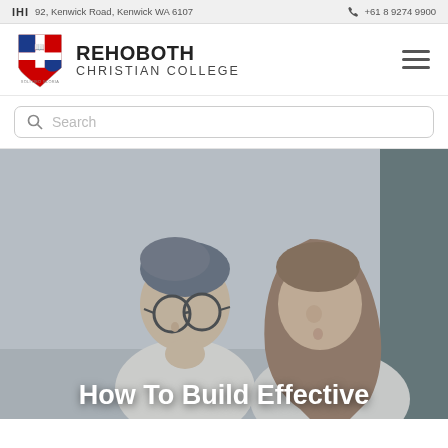92, Kenwick Road, Kenwick WA 6107    +61 8 9274 9900
[Figure (logo): Rehoboth Christian College logo with shield emblem]
REHOBOTH
CHRISTIAN COLLEGE
Search
[Figure (photo): Two students wearing glasses studying together, looking down at work]
How To Build Effective